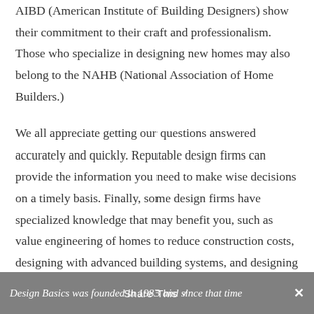AIBD (American Institute of Building Designers) show their commitment to their craft and professionalism. Those who specialize in designing new homes may also belong to the NAHB (National Association of Home Builders.)
We all appreciate getting our questions answered accurately and quickly. Reputable design firms can provide the information you need to make wise decisions on a timely basis. Finally, some design firms have specialized knowledge that may benefit you, such as value engineering of homes to reduce construction costs, designing with advanced building systems, and designing for aging-in-place.
Design Basics was founded in 1983 and since that time has...